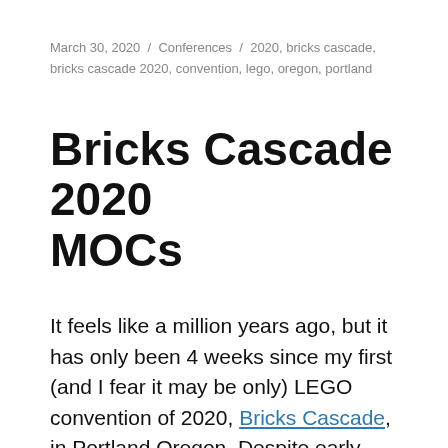March 30, 2020 / Conferences / 2020, bricks cascade, bricks cascade 2020, convention, lego, oregon, portland
Bricks Cascade 2020 MOCs
It feels like a million years ago, but it has only been 4 weeks since my first (and I fear it may be only) LEGO convention of 2020, Bricks Cascade, in Portland Oregon. Despite early worries about coronavirus, I had a pretty great time, and don't seem to have caught anything. Since then, of course, I've returned home and have been sheltering in place and watching